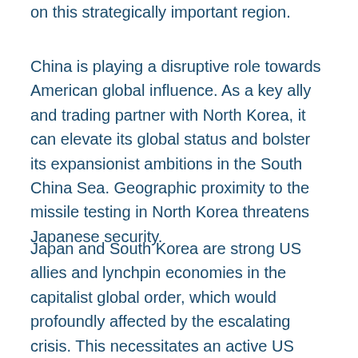on this strategically important region.
China is playing a disruptive role towards American global influence. As a key ally and trading partner with North Korea, it can elevate its global status and bolster its expansionist ambitions in the South China Sea. Geographic proximity to the missile testing in North Korea threatens Japanese security.
Japan and South Korea are strong US allies and lynchpin economies in the capitalist global order, which would profoundly affected by the escalating crisis. This necessitates an active US presence. Threats by President Trump to unleash 'fire and